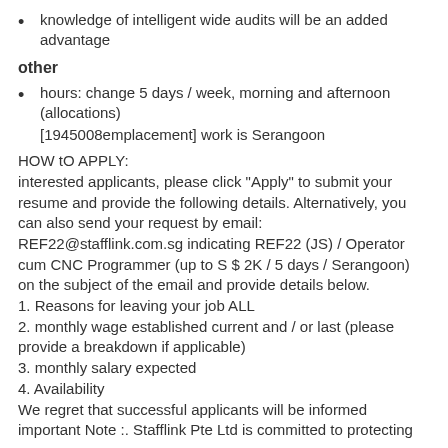knowledge of intelligent wide audits will be an added advantage
other
hours: change 5 days / week, morning and afternoon (allocations)
[1945008emplacement] work is Serangoon
HOW tO APPLY:
interested applicants, please click "Apply" to submit your resume and provide the following details. Alternatively, you can also send your request by email:
REF22@stafflink.com.sg indicating REF22 (JS) / Operator cum CNC Programmer (up to S $ 2K / 5 days / Serangoon) on the subject of the email and provide details below.
1. Reasons for leaving your job ALL
2. monthly wage established current and / or last (please provide a breakdown if applicable)
3. monthly salary expected
4. Availability
We regret that successful applicants will be informed important Note :. Stafflink Pte Ltd is committed to protecting